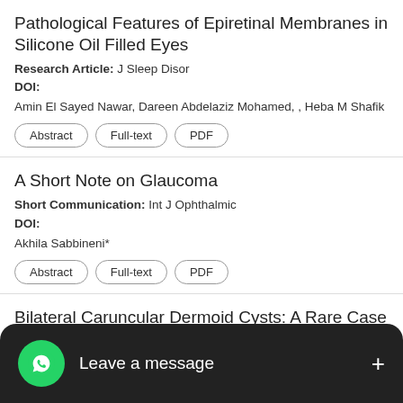Pathological Features of Epiretinal Membranes in Silicone Oil Filled Eyes
Research Article: J Sleep Disor
DOI:
Amin El Sayed Nawar, Dareen Abdelaziz Mohamed, , Heba M Shafik
Abstract  Full-text  PDF
A Short Note on Glaucoma
Short Communication: Int J Ophthalmic
DOI:
Akhila Sabbineni*
Abstract  Full-text  PDF
Bilateral Caruncular Dermoid Cysts: A Rare Case Series
Report: Int J Ophthalmic Pathol 2019, 9:1
Alec  Tyler D. Boulter , Suzanne W. va